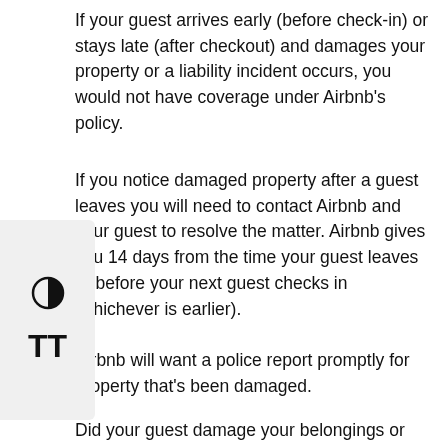If your guest arrives early (before check-in) or stays late (after checkout) and damages your property or a liability incident occurs, you would not have coverage under Airbnb's policy.
If you notice damaged property after a guest leaves you will need to contact Airbnb and your guest to resolve the matter. Airbnb gives you 14 days from the time your guest leaves or before your next guest checks in (whichever is earlier).
Airbnb will want a police report promptly for property that's been damaged.
Did your guest damage your belongings or property? You better have some kind of proof of